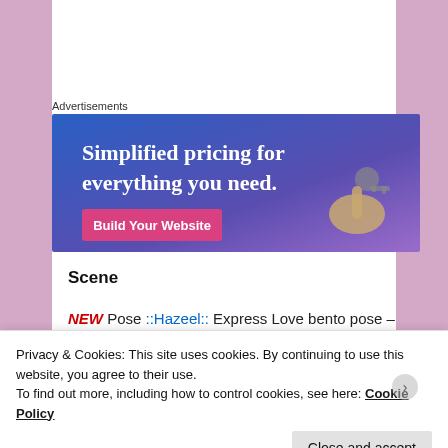Advertisements
[Figure (illustration): Advertisement banner with blue-to-purple gradient background. Text reads 'Simplified pricing for everything you need.' with a pink 'Build Your Website' button and a hand holding keys on the right.]
Scene
NEW Pose ::Hazeel:: Express Love bento pose –
Privacy & Cookies: This site uses cookies. By continuing to use this website, you agree to their use.
To find out more, including how to control cookies, see here: Cookie Policy
Close and accept